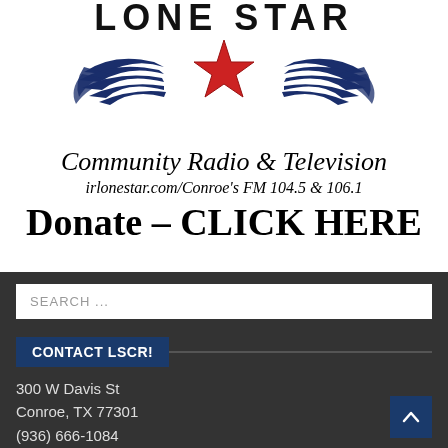[Figure (logo): Lone Star Community Radio & Television logo with winged star design — blue wings, red star, text 'LONE STAR' in large letters above]
Community Radio & Television
irlonestar.com/Conroe's FM 104.5 & 106.1
Donate – CLICK HERE
SEARCH ...
CONTACT LSCR!
300 W Davis St
Conroe, TX 77301
(936) 666-1084